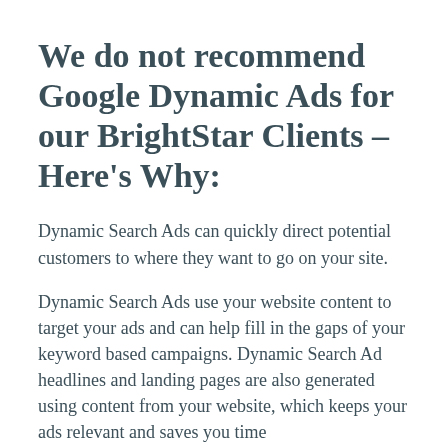We do not recommend Google Dynamic Ads for our BrightStar Clients – Here's Why:
Dynamic Search Ads can quickly direct potential customers to where they want to go on your site.
Dynamic Search Ads use your website content to target your ads and can help fill in the gaps of your keyword based campaigns. Dynamic Search Ad headlines and landing pages are also generated using content from your website, which keeps your ads relevant and saves you time
When someone searches on Google with terms closely